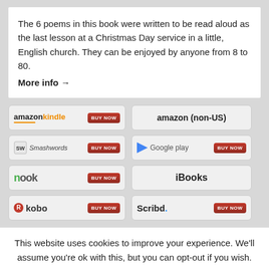The 6 poems in this book were written to be read aloud as the last lesson at a Christmas Day service in a little, English church. They can be enjoyed by anyone from 8 to 80.
More info →
[Figure (screenshot): Row of retailer buy buttons: Amazon Kindle BUY NOW, Amazon (non-US), Smashwords BUY NOW, Google Play BUY NOW, nook BUY NOW, iBooks, kobo BUY NOW, Scribd BUY NOW]
This website uses cookies to improve your experience. We'll assume you're ok with this, but you can opt-out if you wish.
Accept   Read More